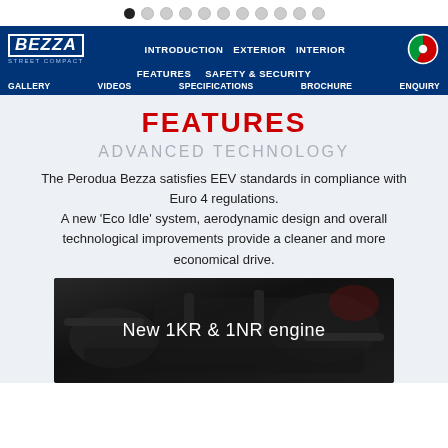[Figure (screenshot): Pagination dots navigation indicator, first dot filled black, rest grey]
BEZZA INTRODUCTION EXTERIOR INTERIOR FEATURES SAFETY & SECURITY GALLERY VIDEOS SPECIFICATIONS BROCHURE ENQUIRY
FEATURES
ADVANCED TECHNOLOGY
The Perodua Bezza satisfies EEV standards in compliance with Euro 4 regulations. A new 'Eco Idle' system, aerodynamic design and overall technological improvements provide a cleaner and more economical drive.
[Figure (photo): Dark photo of a car engine bay with text overlay 'New 1KR & 1NR engine']